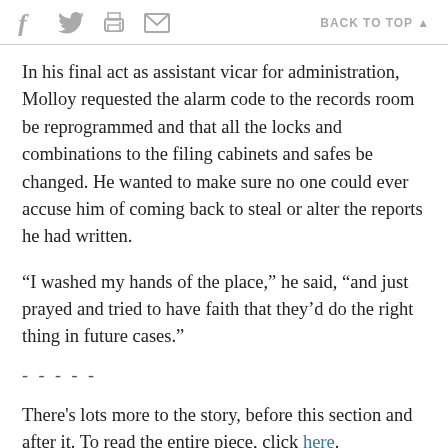f [twitter] [print] [email]   BACK TO TOP ▲
In his final act as assistant vicar for administration, Molloy requested the alarm code to the records room be reprogrammed and that all the locks and combinations to the filing cabinets and safes be changed. He wanted to make sure no one could ever accuse him of coming back to steal or alter the reports he had written.
“I washed my hands of the place,” he said, “and just prayed and tried to have faith that they’d do the right thing in future cases.”
- - - - -
There's lots more to the story, before this section and after it. To read the entire piece, click here.
Join the Conversation